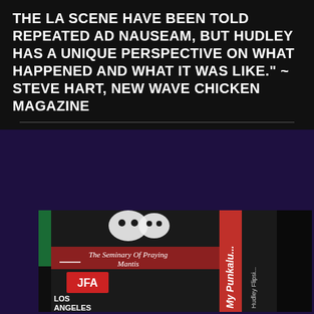THE LA SCENE HAVE BEEN TOLD REPEATED AD NAUSEAM, BUT HUDLEY HAS A UNIQUE PERSPECTIVE ON WHAT HAPPENED AND WHAT IT WAS LIKE." ~ STEVE HART, NEW WAVE CHICKEN MAGAZINE
[Figure (photo): Photo of a book titled 'My Punkalulu' by Hudley Flipside, The Seminary Of Praying Mantis, shown against a black leather jacket background with punk band stickers including JFA and Los Angeles markings.]